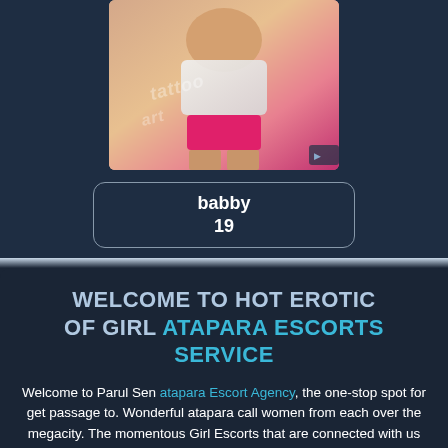[Figure (photo): Photo of a young woman wearing a white top and pink bikini bottom, with decorative text overlay on her legs]
babby
19
WELCOME TO HOT EROTIC OF GIRL ATAPARA ESCORTS SERVICE
Welcome to Parul Sen atapara Escort Agency, the one-stop spot for get passage to. Wonderful atapara call women from each over the megacity. The momentous Girl Escorts that are connected with us are on the whole unbiased histories who